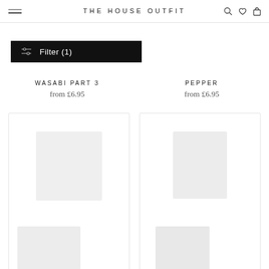THE HOUSE OUTFIT
[Figure (screenshot): Filter button with slider icon, black background, white text reading Filter (1)]
WASABI PART 3
from £6.95
PEPPER
from £6.95
[Figure (photo): Product card for Wasabi Part 3 with placeholder images]
[Figure (photo): Product card for Pepper with placeholder images]